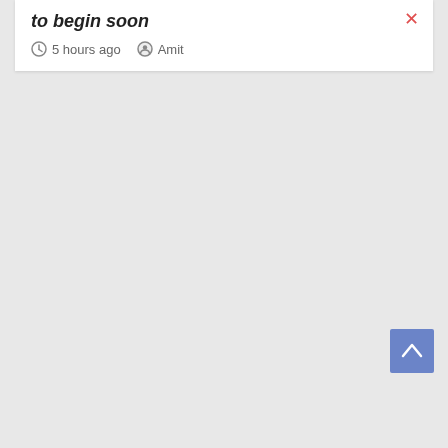to begin soon
5 hours ago  Amit
[Figure (other): Blue square button with white upward chevron arrow (back to top button)]